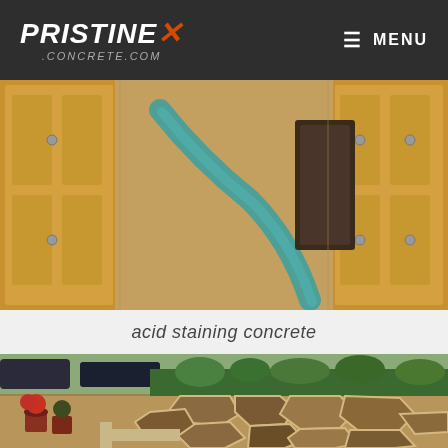PRISTINE X CONCRETE.COM — MENU
[Figure (photo): Interior photo showing acid-stained concrete floor with teal/turquoise streak, flanked by wooden cabinetry]
acid staining concrete
[Figure (photo): Outdoor patio with flagstone-pattern stamped concrete in brown and earth tones, surrounding a garden area with plants and flower pots]